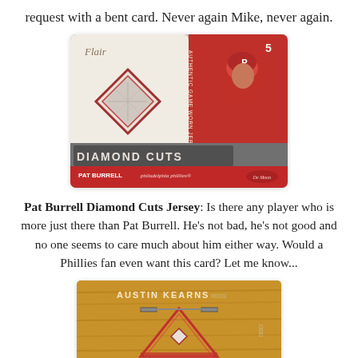request with a bent card. Never again Mike, never again.
[Figure (photo): Pat Burrell Flair Diamond Cuts Jersey baseball card showing a jersey swatch embedded in a diamond shape, player photo, and team branding for Philadelphia Phillies]
Pat Burrell Diamond Cuts Jersey: Is there any player who is more just there than Pat Burrell. He's not bad, he's not good and no one seems to care much about him either way. Would a Phillies fan even want this card? Let me know...
[Figure (photo): Austin Kearns baseball card (partially visible) with wooden background and triangle/home plate design, numbered /300]